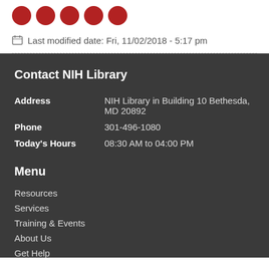[Figure (other): Row of five circular red social media icons]
Last modified date: Fri, 11/02/2018 - 5:17 pm
Contact NIH Library
| Address | NIH Library in Building 10 Bethesda, MD 20892 |
| Phone | 301-496-1080 |
| Today's Hours | 08:30 AM to 04:00 PM |
Menu
Resources
Services
Training & Events
About Us
Get Help